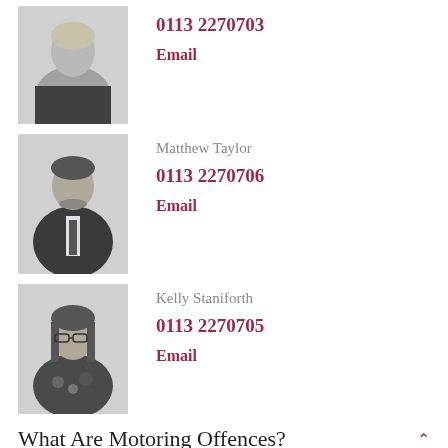[Figure (photo): Professional headshot of a blonde woman in a black jacket (grayscale)]
0113 2270703
Email
[Figure (photo): Professional headshot of Matthew Taylor, a man in a dark suit with a tie (grayscale)]
Matthew Taylor
0113 2270706
Email
[Figure (photo): Professional headshot of Kelly Staniforth, a woman with glasses and dark hair (grayscale)]
Kelly Staniforth
0113 2270705
Email
What Are Motoring Offences?
Most motoring offences are covered by the Road